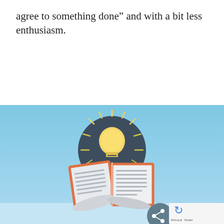agree to something done” and with a bit less enthusiasm.
[Figure (illustration): Flat style illustration of an open book with a glowing light bulb above it, set against a light blue gradient background. The book has an orange border and white pages with horizontal lines. The light bulb emits yellow rays. Below the image is a dark share button and a reCAPTCHA/Privacy & Terms overlay in the bottom-right corner.]